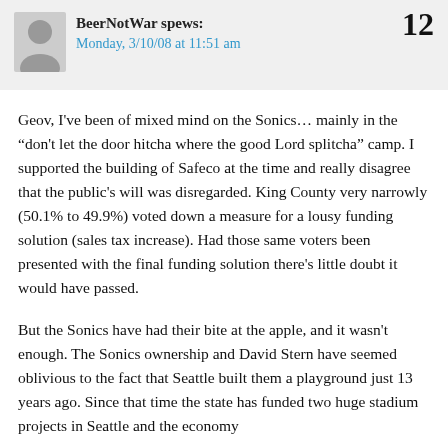BeerNotWar spews:
Monday, 3/10/08 at 11:51 am
12
Geov, I've been of mixed mind on the Sonics… mainly in the “don't let the door hitcha where the good Lord splitcha” camp. I supported the building of Safeco at the time and really disagree that the public's will was disregarded. King County very narrowly (50.1% to 49.9%) voted down a measure for a lousy funding solution (sales tax increase). Had those same voters been presented with the final funding solution there's little doubt it would have passed.
But the Sonics have had their bite at the apple, and it wasn't enough. The Sonics ownership and David Stern have seemed oblivious to the fact that Seattle built them a playground just 13 years ago. Since that time the state has funded two huge stadium projects in Seattle and the economy